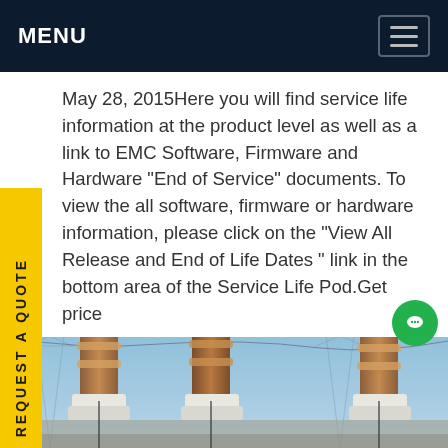MENU
May 28, 2015Here you will find service life information at the product level as well as a link to EMC Software, Firmware and Hardware "End of Service" documents. To view the all software, firmware or hardware information, please click on the "View All Release and End of Life Dates" link in the bottom area of the Service Life Pod.Get price
[Figure (photo): Photograph of a high-voltage electrical power substation with large transformer bushings and transmission towers against a blue sky.]